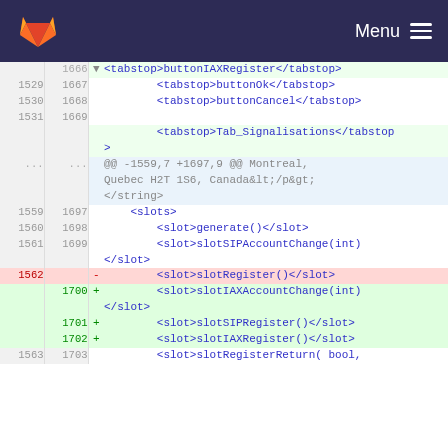[Figure (screenshot): GitLab navigation bar with orange fox logo and Menu hamburger icon on dark navy background]
| old_ln | new_ln | marker | code |
| --- | --- | --- | --- |
|  | 1666 | ▼ | <tabstop>buttonIAXRegister</tabstop> |
| 1529 | 1667 |  |         <tabstop>buttonOk</tabstop> |
| 1530 | 1668 |  |         <tabstop>buttonCancel</tabstop> |
| 1531 | 1669 |  |  |
|  |  |  |         <tabstop>Tab_Signalisations</tabstop> |
| ... | ... |  | @@ -1559,7 +1697,9 @@ Montreal, Quebec H2T 1S6, Canada&lt;/p&gt;</string> |
| 1559 | 1697 |  |     <slots> |
| 1560 | 1698 |  |         <slot>generate()</slot> |
| 1561 | 1699 |  |         <slot>slotSIPAccountChange(int)</slot> |
| 1562 |  | - |         <slot>slotRegister()</slot> |
|  | 1700 | + |         <slot>slotIAXAccountChange(int)</slot> |
|  | 1701 | + |         <slot>slotSIPRegister()</slot> |
|  | 1702 | + |         <slot>slotIAXRegister()</slot> |
| 1563 | 1703 |  |         <slot>slotRegisterReturn( bool, |